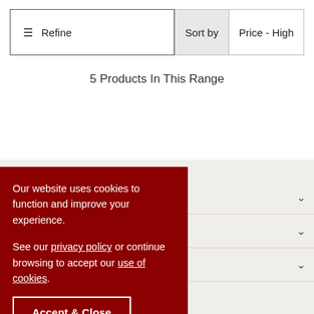⚙ Refine | Sort by | Price - High
5 Products In This Range
Our website uses cookies to function and improve your experience.

See our privacy policy or continue browsing to accept our use of cookies.
Accept & Close